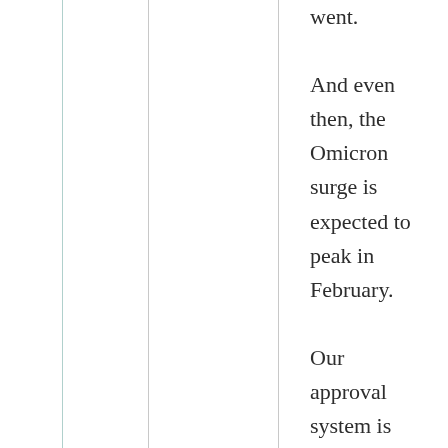went. And even then, the Omicron surge is expected to peak in February. Our approval system is just too slow for that solution by